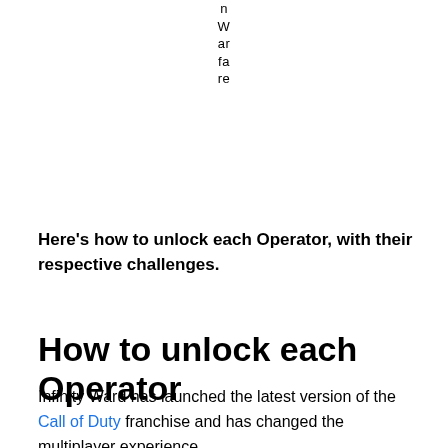n
W
ar
fa
re
Here’s how to unlock each Operator, with their respective challenges.
How to unlock each Operator
Infinity Ward has launched the latest version of the Call of Duty franchise and has changed the multiplayer experience.
Coalition: